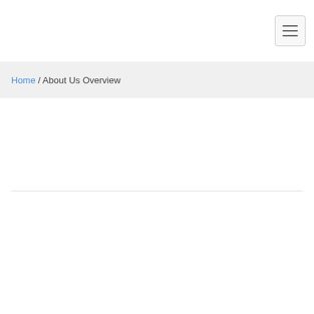[hamburger menu button]
Home / About Us Overview